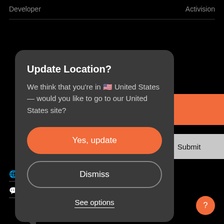Developer   Activision
[Figure (screenshot): Modal dialog on dark background showing location update prompt with Yes update and Dismiss buttons and See options link]
Update Location?
We think that you're in 🇺🇸 United States — would you like to go to our United States site?
Yes, update
Dismiss
See options
🌐 United Kingdom ▾
💬 English ▾